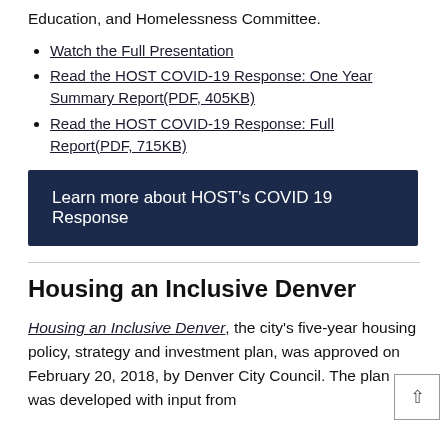Education, and Homelessness Committee.
Watch the Full Presentation
Read the HOST COVID-19 Response: One Year Summary Report(PDF, 405KB)
Read the HOST COVID-19 Response: Full Report(PDF, 715KB)
Learn more about HOST's COVID 19 Response
Housing an Inclusive Denver
Housing an Inclusive Denver, the city's five-year housing policy, strategy and investment plan, was approved on February 20, 2018, by Denver City Council. The plan was developed with input from